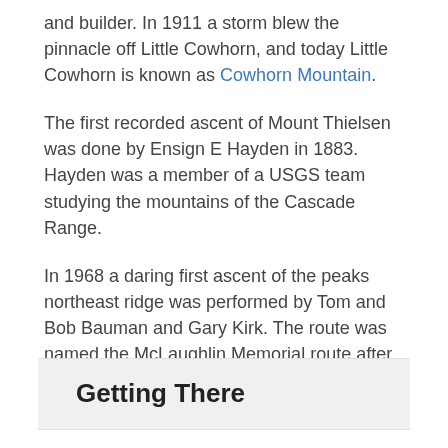and builder. In 1911 a storm blew the pinnacle off Little Cowhorn, and today Little Cowhorn is known as Cowhorn Mountain.
The first recorded ascent of Mount Thielsen was done by Ensign E Hayden in 1883. Hayden was a member of a USGS team studying the mountains of the Cascade Range.
In 1968 a daring first ascent of the peaks northeast ridge was performed by Tom and Bob Bauman and Gary Kirk. The route was named the McLaughlin Memorial route after Mark McLaughlin, a friend of theirs who died on Denali.
Getting There